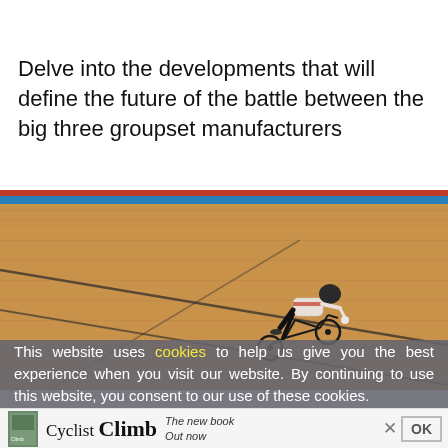Delve into the developments that will define the future of the battle between the big three groupset manufacturers
[Figure (photo): A cyclist riding a track bicycle on a velodrome track, leaning forward in an aerodynamic position, wearing a black helmet and white/black skinsuit. The wooden track surface is visible with curved black lines.]
This website uses cookies to help us give you the best experience when you visit our website. By continuing to use this website, you consent to our use of these cookies.
[Figure (other): Advertisement banner showing a book cover thumbnail, 'Cyclist Climb' text logo, and subtitle 'The new book Out now', with an X close button and OK button.]